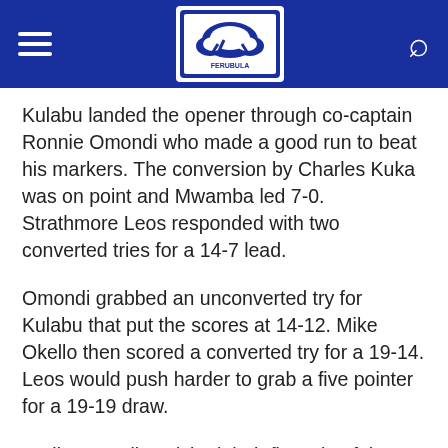[Navigation header with hamburger menu, logo, and search icon]
Kulabu landed the opener through co-captain Ronnie Omondi who made a good run to beat his markers. The conversion by Charles Kuka was on point and Mwamba led 7-0.  Strathmore Leos responded with two converted tries for a 14-7 lead.
Omondi grabbed an unconverted try for Kulabu that put the scores at 14-12.  Mike Okello then scored a converted try for a 19-14.  Leos would push harder to grab a five pointer for a 19-19 draw.
Earlier, Nondies picked their first win of the tournament as they beat Mean Machine 29-0.
Homeboyz, Oilers through
Homeboyz confirmed their place in the last eight after